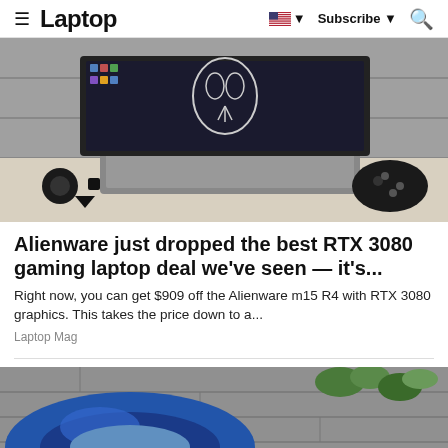≡ Laptop | 🇺🇸 ▼ Subscribe ▼ 🔍
[Figure (photo): Alienware gaming laptop on a desk with a game controller and speakers, showing the Alienware logo on screen]
Alienware just dropped the best RTX 3080 gaming laptop deal we've seen — it's...
Right now, you can get $909 off the Alienware m15 R4 with RTX 3080 graphics. This takes the price down to a...
Laptop Mag
[Figure (photo): Blue inflatable ring or float near a stone wall with green plants]